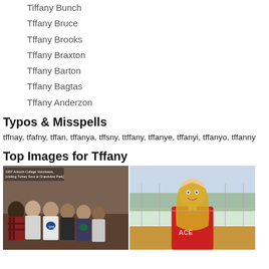Tiffany Bunch
Tffany Bruce
Tffany Brooks
Tffany Braxton
Tffany Barton
Tffany Bagtas
Tffany Anderzon
Typos & Misspells
tffnay, tfafny, tffan, tffanya, tffsny, ttffany, tffanye, tffanyi, tffanyo, tffanny
Top Images for Tffany
[Figure (photo): Two photos side by side: left shows a group of college volunteers at Antioch College 1997 visiting Turkey Sour at Grandview Park; right shows a young blonde woman in a red shirt on a tennis court.]